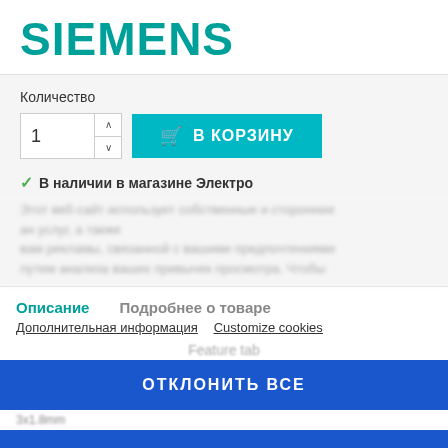[Figure (logo): Siemens logo in teal/turquoise color]
Количество
1  В КОРЗИНУ
✓ В наличии в магазине Электро
Этот веб-сайт использует собственные и сторонние... вам рекламы, связанной с вашими предпочтениями путем анализа ваших привычек просмотра. Чтобы
Описание    Подробнее о товаре
Дополнительная информация  Customize cookies
Feature tab
ОТКЛОНИТЬ ВСЕ
3x1.8mm
Я СОГЛАСЕН
CTSK561N0/05